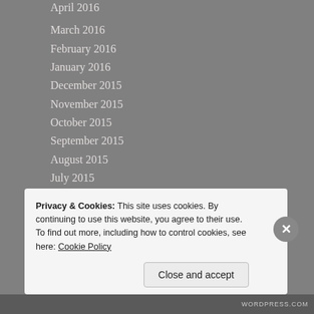April 2016
March 2016
February 2016
January 2016
December 2015
November 2015
October 2015
September 2015
August 2015
July 2015
June 2015
May 2015
April 2015
March 2015
February 2015
Privacy & Cookies: This site uses cookies. By continuing to use this website, you agree to their use.
To find out more, including how to control cookies, see here: Cookie Policy
Close and accept